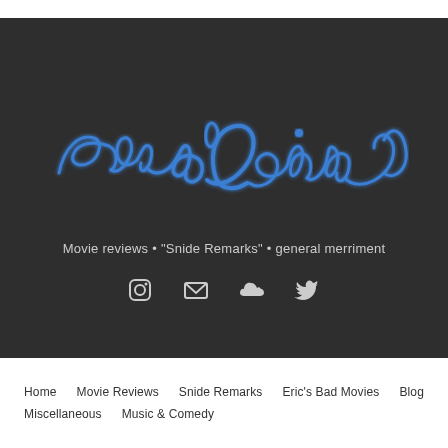[Figure (logo): Eric D. Snider signature logo in blue cursive script on dark background]
Movie reviews • "Snide Remarks" • general merriment
[Figure (infographic): Social media icons: Instagram, Email/Envelope, SoundCloud, Twitter]
Home  Movie Reviews  Snide Remarks  Eric's Bad Movies  Blog  Miscellaneous  Music & Comedy